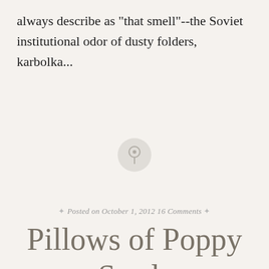always describe as "that smell"--the Soviet institutional odor of dusty folders, karbolka...
[Figure (illustration): A circular pin/thumbtack icon with a light gray circle background, centered on the page as a decorative blog post separator.]
Posted on October 1, 2012 16 Comments
Pillows of Poppy Seeds